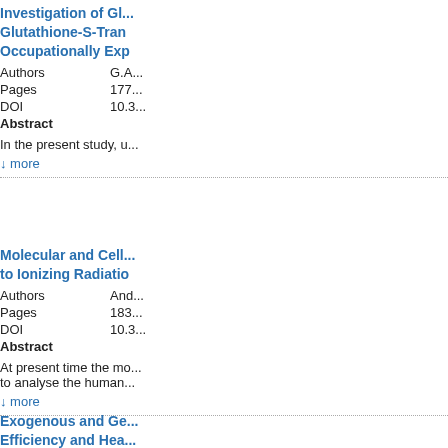Investigation of Glutathione-S-Tran... Occupationally Exp...
Authors   G.A...
Pages   177...
DOI   10.3...
Abstract
In the present study, u...
↓ more
Molecular and Cellu... to Ionizing Radiatio...
Authors   And...
Pages   183...
DOI   10.3...
Abstract
At present time the mo... to analyse the human...
↓ more
Exogenous and Ge... Efficiency and Hea...
Authors   Ant...